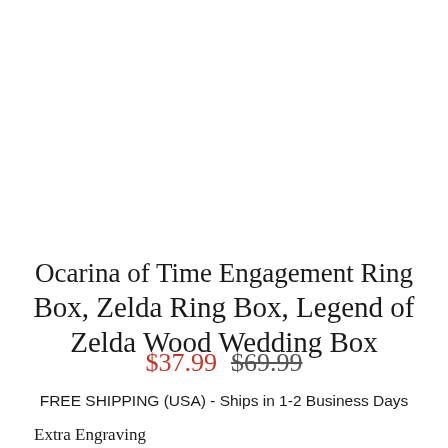Ocarina of Time Engagement Ring Box, Zelda Ring Box, Legend of Zelda Wood Wedding Box
$37.99  $69.99
FREE SHIPPING (USA) - Ships in 1-2 Business Days
Extra Engraving